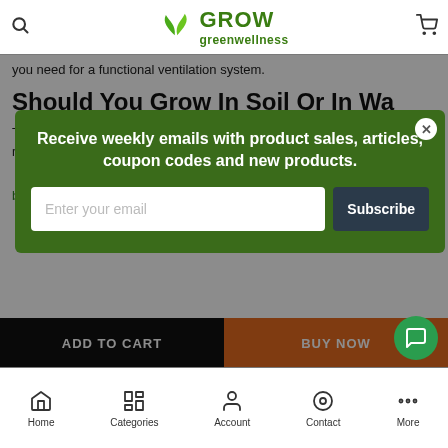Grow Green Wellness
you need for a functional ventilation system.
Should You Grow In Soil Or In Wa…
The Hig… soil gro… over gr… cleaner… system… hydroponic growing. We typically recommend that beginners start by growing in soil first, and then transition to hydroponic growing… bags for soil growing.
[Figure (screenshot): Email subscription popup overlay with dark green background, title 'Receive weekly emails with product sales, articles, coupon codes and new products.', email input field, and Subscribe button]
ADD TO CART
BUY NOW
Home | Categories | Account | Contact | More